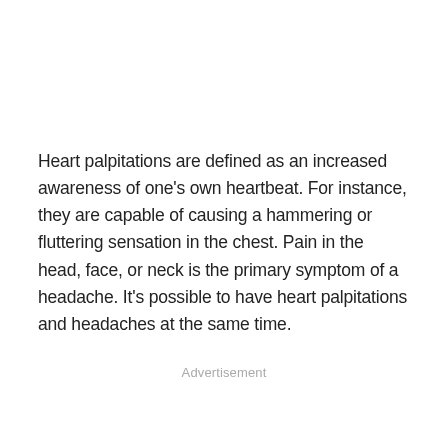Heart palpitations are defined as an increased awareness of one's own heartbeat. For instance, they are capable of causing a hammering or fluttering sensation in the chest. Pain in the head, face, or neck is the primary symptom of a headache. It's possible to have heart palpitations and headaches at the same time.
Advertisement